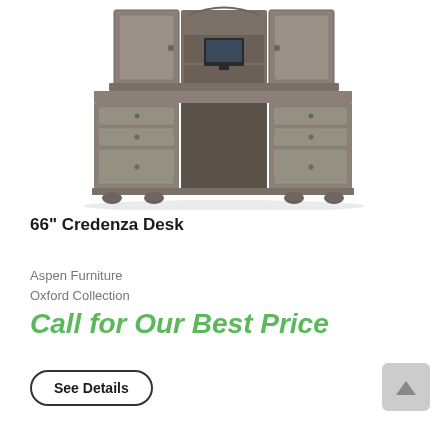[Figure (photo): A grey/taupe 66-inch credenza desk with a matching hutch featuring cabinet doors and open shelving. A monitor is visible on the desk surface. The desk has multiple drawers and decorative bun feet.]
66" Credenza Desk
Aspen Furniture
Oxford Collection
Call for Our Best Price
See Details